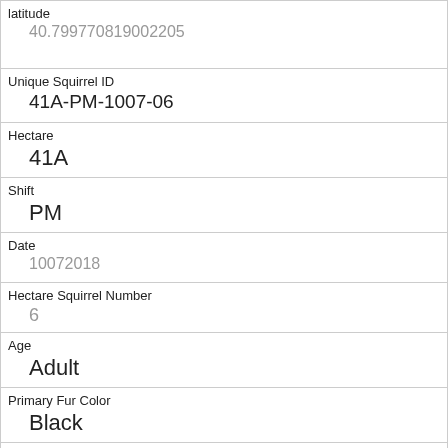| Field | Value |
| --- | --- |
| latitude | 40.799770819002205 |
| Unique Squirrel ID | 41A-PM-1007-06 |
| Hectare | 41A |
| Shift | PM |
| Date | 10072018 |
| Hectare Squirrel Number | 6 |
| Age | Adult |
| Primary Fur Color | Black |
| Highlight Fur Color |  |
| Combination of Primary and Highlight Color | Black+ |
| Color notes |  |